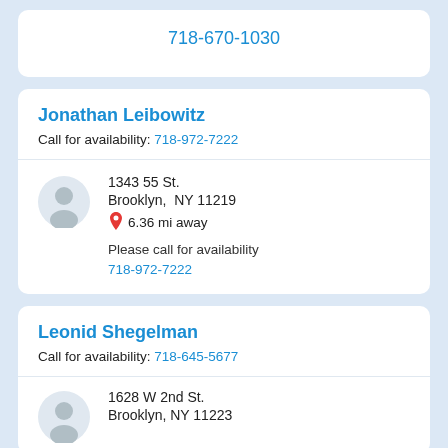718-670-1030
Jonathan Leibowitz
Call for availability: 718-972-7222
1343 55 St.
Brooklyn, NY 11219
6.36 mi away
Please call for availability
718-972-7222
Leonid Shegelman
Call for availability: 718-645-5677
1628 W 2nd St.
Brooklyn, NY 11223